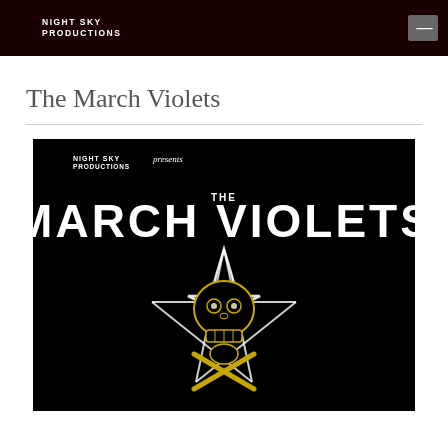NIGHT SKY PRODUCTIONS
The March Violets
[Figure (illustration): Night Sky Productions event poster for The March Violets, featuring large white text 'THE MARCH VIOLETS' on black background with a skull and pentagram/star design in black and gold outline.]